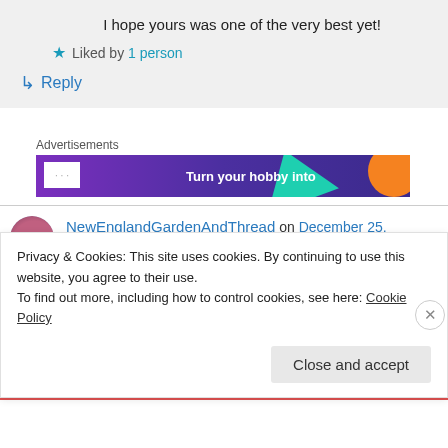I hope yours was one of the very best yet!
★ Liked by 1 person
↳ Reply
Advertisements
[Figure (screenshot): Purple advertisement banner with teal triangle, orange circle, and white text 'Turn your hobby into']
NewEnglandGardenAndThread on December 25, 2019 at 3:24 PM
Privacy & Cookies: This site uses cookies. By continuing to use this website, you agree to their use.
To find out more, including how to control cookies, see here: Cookie Policy
Close and accept